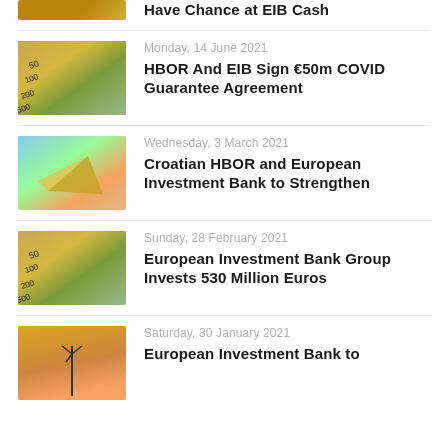[Figure (photo): Partially visible thumbnail of Euro banknotes at top of page (cropped)]
Have Chance at EIB Cash
[Figure (photo): Euro banknotes fanned out]
Monday, 14 June 2021
HBOR And EIB Sign €50m COVID Guarantee Agreement
[Figure (photo): Paper boat made from Euro banknote on colorful background]
Wednesday, 3 March 2021
Croatian HBOR and European Investment Bank to Strengthen
[Figure (photo): Euro banknotes fanned out]
Sunday, 28 February 2021
European Investment Bank Group Invests 530 Million Euros
[Figure (photo): Wind turbine silhouette at sunset on sandy/golden background]
Saturday, 30 January 2021
European Investment Bank to